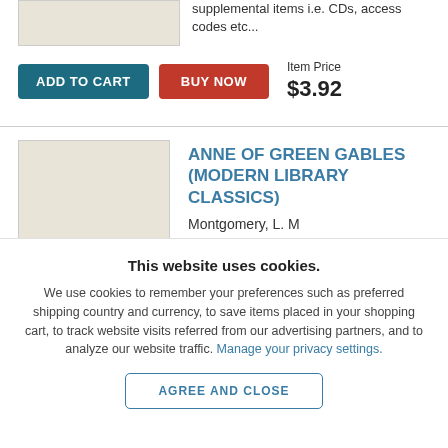supplemental items i.e. CDs, access codes etc...
Item Price $3.92
ADD TO CART
BUY NOW
[Figure (illustration): Book thumbnail placeholder (top, partial)]
[Figure (illustration): Book thumbnail placeholder for Anne of Green Gables]
ANNE OF GREEN GABLES (MODERN LIBRARY CLASSICS)
Montgomery, L. M
This website uses cookies.
We use cookies to remember your preferences such as preferred shipping country and currency, to save items placed in your shopping cart, to track website visits referred from our advertising partners, and to analyze our website traffic. Manage your privacy settings.
AGREE AND CLOSE